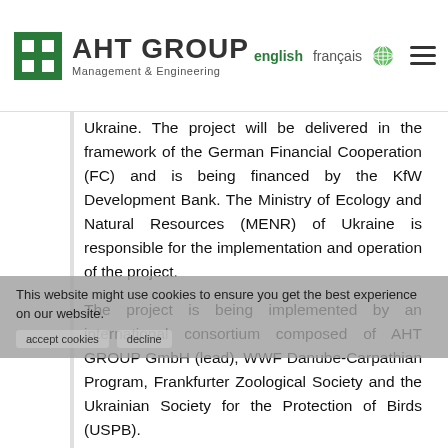AHT GROUP Management & Engineering | english | français
Ukraine. The project will be delivered in the framework of the German Financial Cooperation (FC) and is being financed by the KfW Development Bank. The Ministry of Ecology and Natural Resources (MENR) of Ukraine is responsible for the implementation and operation of the project.
The project is being implemented by an international consortium composed of AHT GROUP GmbH (lead), WWF Danube-Carpathian Program, Frankfurter Zoological Society and the Ukrainian Society for the Protection of Birds (USPB).
The objective of the Project is to improve management and effectiveness of selected